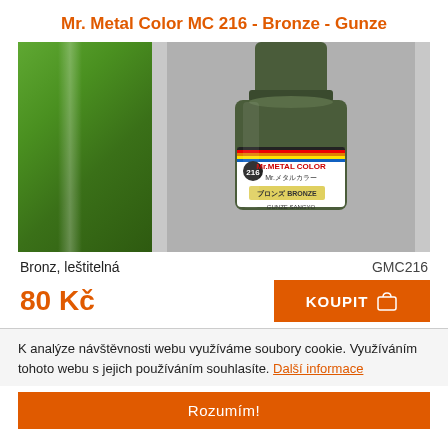Mr. Metal Color MC 216 - Bronze - Gunze
[Figure (photo): Product photo showing a green color swatch on the left and a jar of Mr. Metal Color MC 216 Bronze paint by Gunze Sangyo on the right]
Bronz, leštitelná                                             GMC216
80 Kč
KOUPIT
K analýze návštěvnosti webu využíváme soubory cookie. Využíváním tohoto webu s jejich používáním souhlasíte. Další informace
Rozumím!